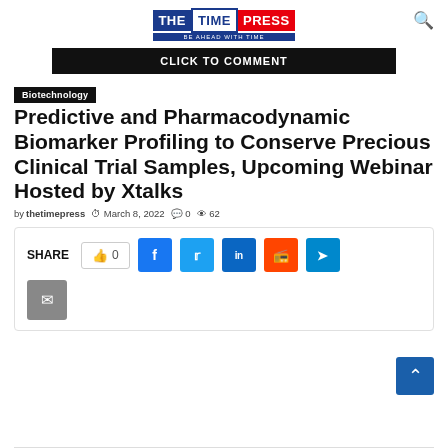THE TIME PRESS — BE AHEAD WITH TIME
[Figure (screenshot): CLICK TO COMMENT black banner button]
Biotechnology
Predictive and Pharmacodynamic Biomarker Profiling to Conserve Precious Clinical Trial Samples, Upcoming Webinar Hosted by Xtalks
by thetimepress  March 8, 2022  0  62
[Figure (infographic): Share bar with like button (0), Facebook, Twitter, LinkedIn, Reddit, Telegram, and Email social sharing buttons]